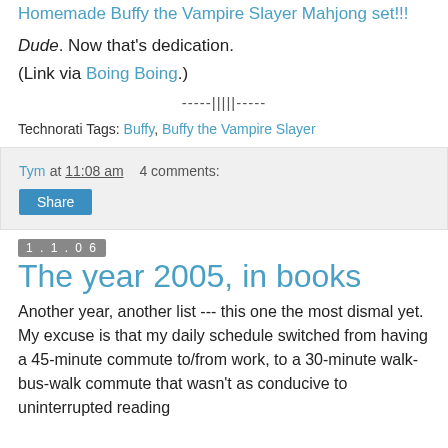Homemade Buffy the Vampire Slayer Mahjong set!!!
Dude. Now that's dedication.
(Link via Boing Boing.)
-----|||||-----
Technorati Tags: Buffy, Buffy the Vampire Slayer
Tym at 11:08 am   4 comments:
Share
1.1.06
The year 2005, in books
Another year, another list --- this one the most dismal yet. My excuse is that my daily schedule switched from having a 45-minute commute to/from work, to a 30-minute walk-bus-walk commute that wasn't as conducive to uninterrupted reading